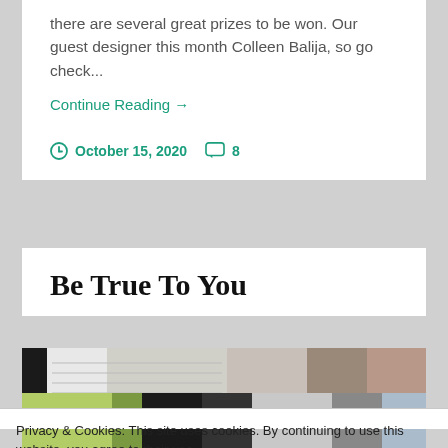there are several great prizes to be won. Our guest designer this month Colleen Balija, so go check...
Continue Reading →
October 15, 2020   8
Be True To You
[Figure (photo): Top portion of a flat lay photo with keyboard and papers on a wooden surface]
Privacy & Cookies: This site uses cookies. By continuing to use this website, you agree to their use.
To find out more, including how to control cookies, see here: Cookie Policy
Close and accept
[Figure (photo): Bottom photo strip showing colorful items including green leaves and black objects]